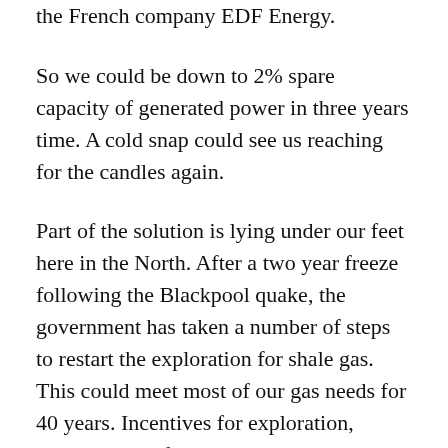the French company EDF Energy.
So we could be down to 2% spare capacity of generated power in three years time. A cold snap could see us reaching for the candles again.
Part of the solution is lying under our feet here in the North. After a two year freeze following the Blackpool quake, the government has taken a number of steps to restart the exploration for shale gas. This could meet most of our gas needs for 40 years. Incentives for exploration, streamlining of planning and standardisation of planning permits were all announced in June's government infrastructure announcement. These were twinned with measures to ensure that local communities on the Fylde and in Cheshire share in the benefits. However unlike in America we only own six feet under our houses, so people in Yorkshire,